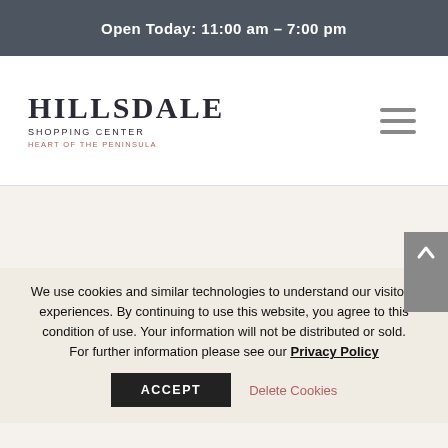Open Today: 11:00 am – 7:00 pm
[Figure (logo): Hillsdale Shopping Center logo — HILLSDALE in large serif, SHOPPING CENTER below, HEART OF THE PENINSULA tagline in salmon/rose color]
We use cookies and similar technologies to understand our visitors' experiences. By continuing to use this website, you agree to this condition of use. Your information will not be distributed or sold. For further information please see our Privacy Policy
ACCEPT
Delete Cookies